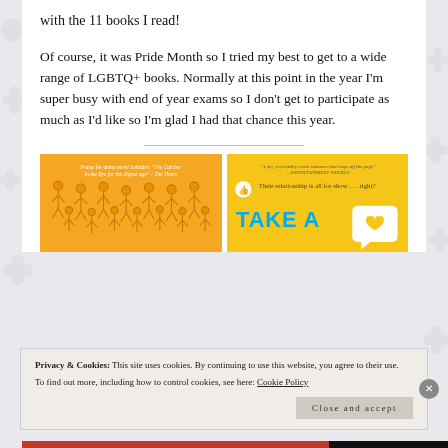with the 11 books I read!
Of course, it was Pride Month so I tried my best to get to a wide range of LGBTQ+ books. Normally at this point in the year I'm super busy with end of year exams so I don't get to participate as much as I'd like so I'm glad I had that chance this year.
[Figure (photo): Orange book cover with illustrated stick figures and text: Praise for debut novel Solitaire: The Catcher in the Rye for the digital age - The Times]
[Figure (photo): Yellow book cover with text: A fun, irresistibly warm romance that leaps off the page - ENTERTAINMENT WEEKLY. Their relationship is all for show...right? TAKE A [heart speech bubble icon]]
Privacy & Cookies: This site uses cookies. By continuing to use this website, you agree to their use.
To find out more, including how to control cookies, see here: Cookie Policy
Close and accept